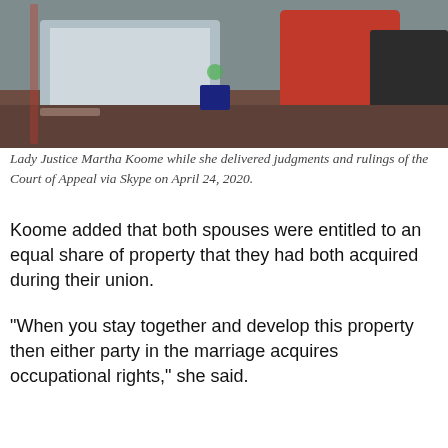[Figure (photo): Lady Justice Martha Koome seated at a desk delivering judgments and rulings of the Court of Appeal via Skype on April 24, 2020. A laptop, papers, and office items are visible. She is wearing a red top.]
Lady Justice Martha Koome while she delivered judgments and rulings of the Court of Appeal via Skype on April 24, 2020.
Koome added that both spouses were entitled to an equal share of property that they had both acquired during their union.
“When you stay together and develop this property then either party in the marriage acquires occupational rights,” she said.
Koome was responding to questions asked by Justice Mohamed Warsame who asked how she would solve the issue of dividing property equally.
Asked whether female judges face more challenges than their male counterparts, Koome stated that the